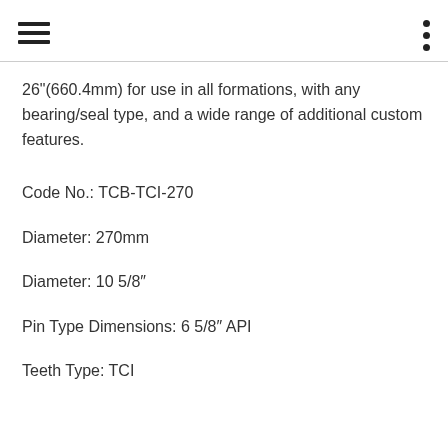26"(660.4mm) for use in all formations, with any bearing/seal type, and a wide range of additional custom features.
Code No.: TCB-TCI-270
Diameter: 270mm
Diameter: 10 5/8″
Pin Type Dimensions: 6 5/8″ API
Teeth Type: TCI